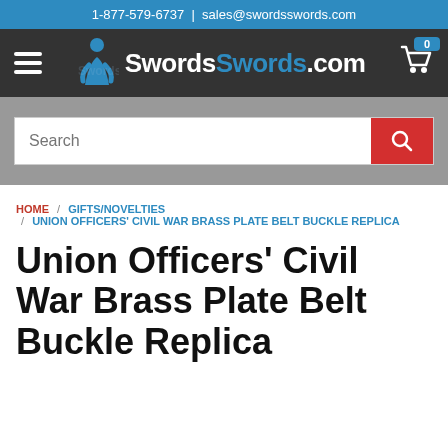1-877-579-6737 | sales@swordsswords.com
[Figure (logo): SwordsSwords.com logo with blue warrior figure, hamburger menu icon on left, shopping cart icon with badge '0' on right, on dark background]
[Figure (screenshot): Search bar with placeholder text 'Search' and red search button with magnifying glass icon, on grey background]
HOME / GIFTS/NOVELTIES / UNION OFFICERS' CIVIL WAR BRASS PLATE BELT BUCKLE REPLICA
Union Officers' Civil War Brass Plate Belt Buckle Replica